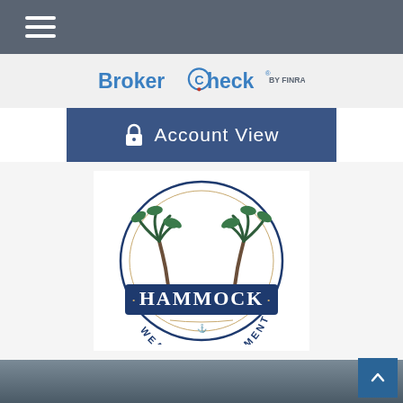[Figure (other): Hamburger menu icon (three horizontal white lines) in top dark gray navigation bar]
[Figure (logo): BrokerCheck by FINRA logo in light gray bar]
[Figure (other): Account View button with lock icon on dark blue background]
[Figure (logo): Hammock Wealth Management circular seal logo with palm trees and hammock illustration on white background]